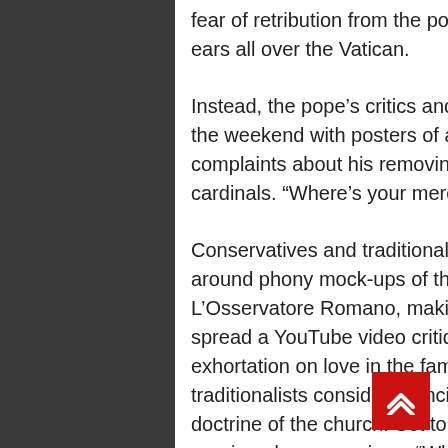fear of retribution from the pope, who, they say, has eyes and ears all over the Vatican.
Instead, the pope’s critics anonymously papered Rome over the weekend with posters of a grumpy-looking Francis above complaints about his removing and ignoring clerics and cardinals. “Where’s your mercy?” it asked.
Conservatives and traditionalists in the Vatican secretly pass around phony mock-ups of the Vatican’s official paper, L’Osservatore Romano, making fun of the pope. Or they spread a YouTube video critiquing the pope and his exhortation on love in the family, ‘Amoris Laetitia,’ which many traditionalists consider Francis’ opening salvo against the doctrine of the church. Set to the music of “That’s Amore,” an aggrieved crooner sings, “When will we all be freed from this cruel tyranny, that’s